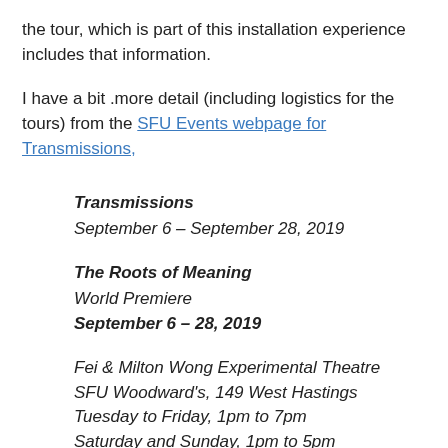the tour, which is part of this installation experience includes that information.
I have a bit .more detail (including logistics for the tours) from the SFU Events webpage for Transmissions,
Transmissions
September 6 – September 28, 2019
The Roots of Meaning
World Premiere
September 6 – 28, 2019
Fei & Milton Wong Experimental Theatre
SFU Woodward's, 149 West Hastings
Tuesday to Friday, 1pm to 7pm
Saturday and Sunday, 1pm to 5pm
FREE